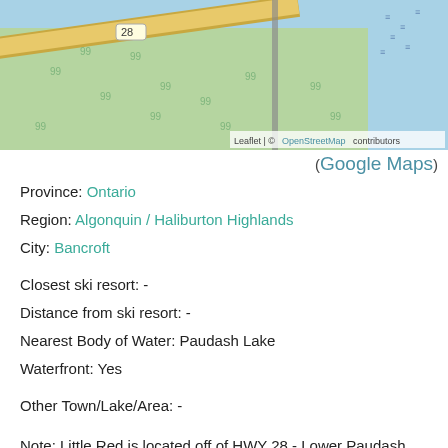[Figure (map): OpenStreetMap tile showing a green landscape with a yellow road (Highway 28), a vertical grey road, water (blue) at top and right, and a map attribution overlay.]
(Google Maps)
Province: Ontario
Region: Algonquin / Haliburton Highlands
City: Bancroft
Closest ski resort:  -
Distance from ski resort:  -
Nearest Body of Water:  Paudash Lake
Waterfront: Yes
Other Town/Lake/Area:  -
Note: Little Red is located off of HWY 28 - Lower Paudash Lake